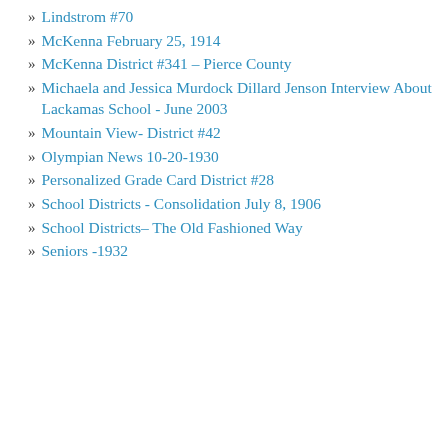Lindstrom #70
McKenna February 25, 1914
McKenna District #341 – Pierce County
Michaela and Jessica Murdock Dillard Jenson Interview About Lackamas School - June 2003
Mountain View- District #42
Olympian News 10-20-1930
Personalized Grade Card District #28
School Districts - Consolidation July 8, 1906
School Districts- The Old Fashioned Way
Seniors -1932